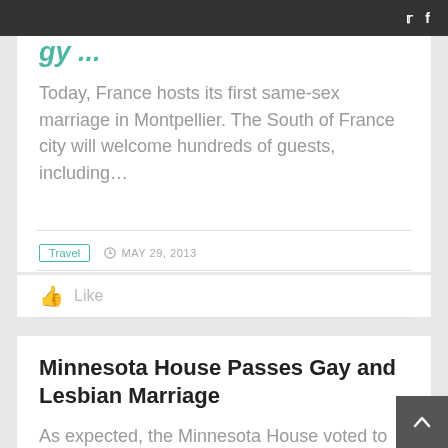Twitter | Facebook
Today, France hosts its first same-sex marriage in Montpellier. The South of France city will welcome hundreds of guests, including…
Travel  MAY 29, 2013
👍 Like
Minnesota House Passes Gay and Lesbian Marriage
As expected, the Minnesota House voted to pass H.F. 1054, a bill that